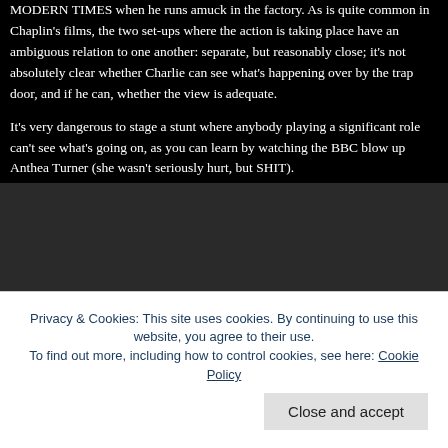MODERN TIMES when he runs amuck in the factory. As is quite common in Chaplin's films, the two set-ups where the action is taking place have an ambiguous relation to one another: separate, but reasonably close; it's not absolutely clear whether Charlie can see what's happening over by the trap door, and if he can, whether the view is adequate.
It's very dangerous to stage a stunt where anybody playing a significant role can't see what's going on, as you can learn by watching the BBC blow up Anthea Turner (she wasn't seriously hurt, but SHIT).
[Figure (screenshot): YouTube video player showing an age-restricted video message. A circle with exclamation mark icon is shown alongside the text 'This video is age-restricted and only available on YouTube. Learn more' and a 'Watch on YouTube' link. The background is dark grey.]
Privacy & Cookies: This site uses cookies. By continuing to use this website, you agree to their use.
To find out more, including how to control cookies, see here: Cookie Policy